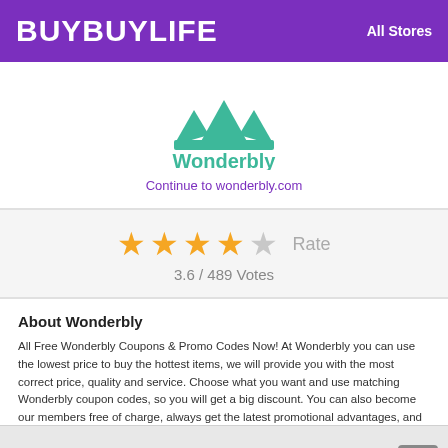BUYBUYLIFE   All Stores
[Figure (logo): Wonderbly logo: green crown icon above the word Wonderbly in green]
Continue to wonderbly.com
[Figure (other): Star rating display: 4 filled gold stars and 1 empty star, with Rate label and 3.6 / 489 Votes]
About Wonderbly
All Free Wonderbly Coupons & Promo Codes Now! At Wonderbly you can use the lowest price to buy the hottest items, we will provide you with the most correct price, quality and service. Choose what you want and use matching Wonderbly coupon codes, so you will get a big discount. You can also become our members free of charge, always get the latest promotional advantages, and enjoy free coupons!